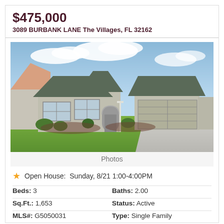$475,000
3089 BURBANK LANE The Villages, FL 32162
[Figure (photo): Exterior photo of a single-family home at 3089 Burbank Lane, The Villages, FL. The house has a gray/green stucco exterior with a dark shingled roof, arched front entry, two-car garage, manicured lawn, and landscaping with shrubs and mulch beds under a partly cloudy blue sky.]
Photos
Open House:  Sunday, 8/21 1:00-4:00PM
| Field | Value |
| --- | --- |
| Beds: | 3 |
| Baths: | 2.00 |
| Sq.Ft.: | 1,653 |
| Status: | Active |
| MLS#: | G5050031 |
| Type: | Single Family |